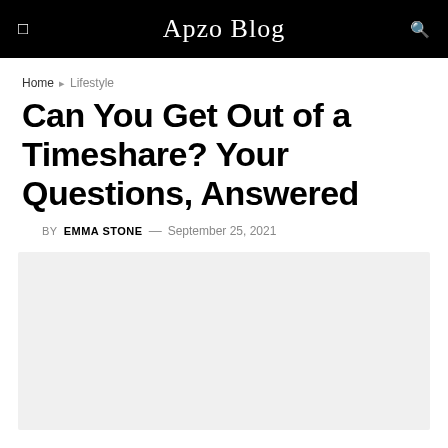Apzo Blog
Home › Lifestyle
Can You Get Out of a Timeshare? Your Questions, Answered
BY EMMA STONE — September 25, 2021
[Figure (photo): Gray placeholder image area for article]